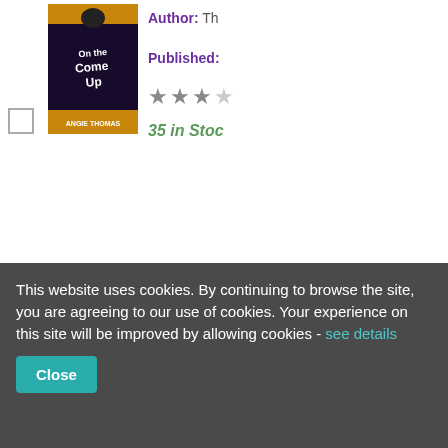[Figure (screenshot): Book listing for 'On the Come Up' by Angie Thomas. Shows book cover image, author label, published label, star rating (~3 stars), and stock count '35 in Stock'. Has a checkbox for selection and a small book thumbnail icon.]
[Figure (screenshot): Book listing for 'Stormbreaker' (Alex Rider series) by Anthony Horowitz. Shows book cover image, author label 'Ho...', published label, star rating (~3 stars), and stock count '448 in Stock'. Has a checkbox for selection and a small book thumbnail icon.]
This website uses cookies. By continuing to browse the site, you are agreeing to our use of cookies. Your experience on this site will be improved by allowing cookies - see details
Close